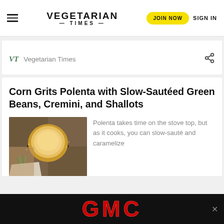VEGETARIAN TIMES | JOIN NOW | SIGN IN
VT  Vegetarian Times
Corn Grits Polenta with Slow-Sautéed Green Beans, Cremini, and Shallots
[Figure (photo): Bowl of polenta (corn grits) with green herbs on a decorative surface]
Polenta takes time on the stove top, but as it cooks, you can slow-sauté and caramelize
[Figure (other): GMC advertisement banner in red text on black background]